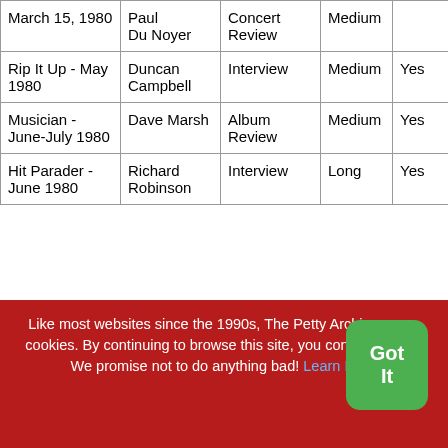| March 15, 1980 | Paul Du Noyer | Concert Review | Medium |  |  |
| Rip It Up - May 1980 | Duncan Campbell | Interview | Medium | Yes |  |
| Musician - June-July 1980 | Dave Marsh | Album Review | Medium | Yes | Diffic read. |
| Hit Parader - June 1980 | Richard Robinson | Interview | Long | Yes |  |
Like most websites since the 1990s, The Petty Archives uses cookies. By continuing to browse this site, you consent to this. We promise not to do anything bad! Learn More